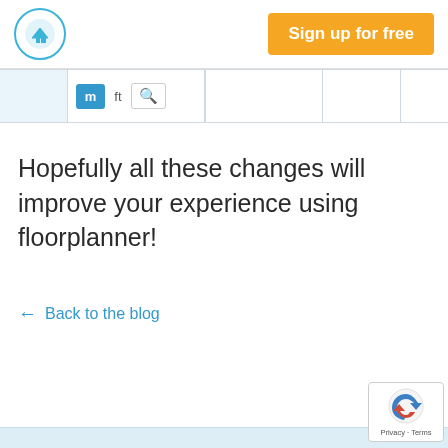[Figure (logo): Floorplanner logo: circular icon with house/building graphic in blue circle outline]
Sign up for free
[Figure (screenshot): Toolbar row with unit buttons: blue 'm' button, 'ft' text button, search/magnifier icon, and empty cells separated by borders]
Hopefully all these changes will improve your experience using floorplanner!
← Back to the blog
[Figure (logo): Google reCAPTCHA badge with reCAPTCHA logo and 'Privacy · Terms' text]